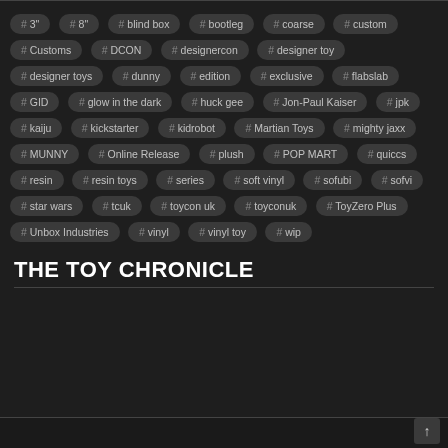# 3" # 8" # blind box # bootleg # coarse # custom # Customs # DCON # designercon # designer toy # designer toys # dunny # edition # exclusive # flabslab # GID # glow in the dark # huck gee # Jon-Paul Kaiser # jpk # kaiju # kickstarter # kidrobot # Martian Toys # mighty jaxx # MUNNY # Online Release # plush # POP MART # quiccs # resin # resin toys # series # soft vinyl # sofubi # sofvi # star wars # tcuk # toycon uk # toyconuk # ToyZero Plus # Unbox Industries # vinyl # vinyl toy # wip
THE TOY CHRONICLE